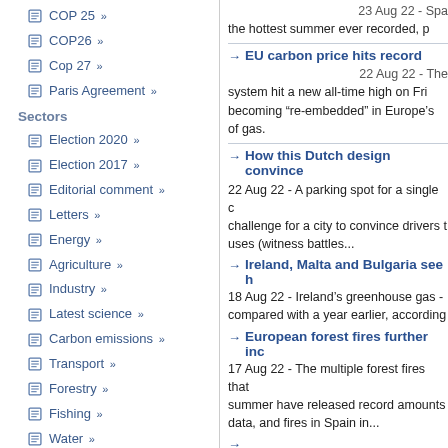COP 25 »
COP26 »
Cop 27 »
Paris Agreement »
Sectors
Election 2020 »
Election 2017 »
Editorial comment »
Letters »
Energy »
Agriculture »
Industry »
Latest science »
Carbon emissions »
Transport »
Forestry »
Fishing »
Water »
Business »
Weather »
Ten years ago »
Waste »
Finance »
Technology »
EU carbon price hits record
22 Aug 22 - The system hit a new all-time high on Fri becoming "re-embedded" in Europe's of gas.
How this Dutch design convince
22 Aug 22 - A parking spot for a single c challenge for a city to convince drivers t uses (witness battles...
Ireland, Malta and Bulgaria see h
18 Aug 22 - Ireland's greenhouse gas - compared with a year earlier, according
European forest fires further inc
17 Aug 22 - The multiple forest fires that summer have released record amounts data, and fires in Spain in...
EU-New Zealand agreement raises analysis
16 Aug 22 - The EU-New Zealand free t the first of its kind to include legally enfo